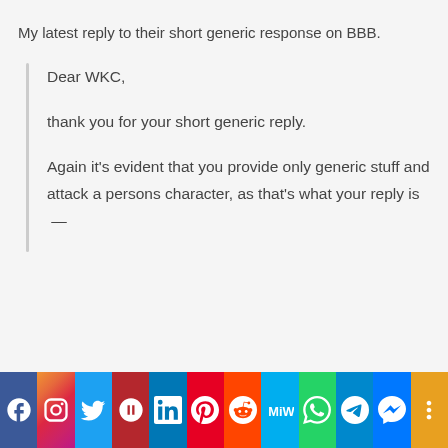My latest reply to their short generic response on BBB.
Dear WKC,

thank you for your short generic reply.

Again it's evident that you provide only generic stuff and attack a persons character, as that's what your reply is —